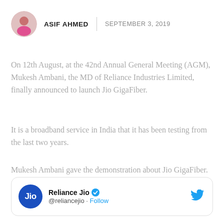ASIF AHMED | SEPTEMBER 3, 2019
On 12th August, at the 42nd Annual General Meeting (AGM), Mukesh Ambani, the MD of Reliance Industries Limited, finally announced to launch Jio GigaFiber.
It is a broadband service in India that it has been testing from the last two years.
Mukesh Ambani gave the demonstration about Jio GigaFiber.
[Figure (screenshot): Reliance Jio Twitter card with @reliancejio handle and Follow link, Twitter bird icon on right]